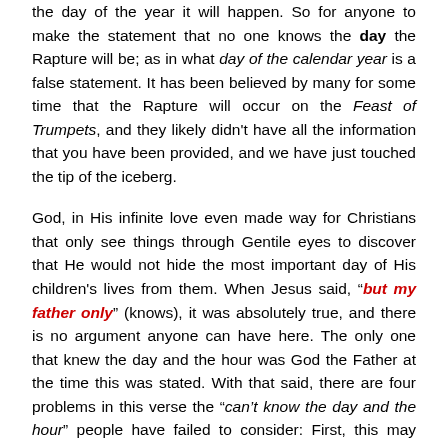the day of the year it will happen. So for anyone to make the statement that no one knows the day the Rapture will be; as in what day of the calendar year is a false statement. It has been believed by many for some time that the Rapture will occur on the Feast of Trumpets, and they likely didn't have all the information that you have been provided, and we have just touched the tip of the iceberg.
God, in His infinite love even made way for Christians that only see things through Gentile eyes to discover that He would not hide the most important day of His children's lives from them. When Jesus said, "but my father only" (knows), it was absolutely true, and there is no argument anyone can have here. The only one that knew the day and the hour was God the Father at the time this was stated. With that said, there are four problems in this verse the "can't know the day and the hour" people have failed to consider: First, this may have been true when Christ spoke it, but that does not mean it is going to be true forever. In